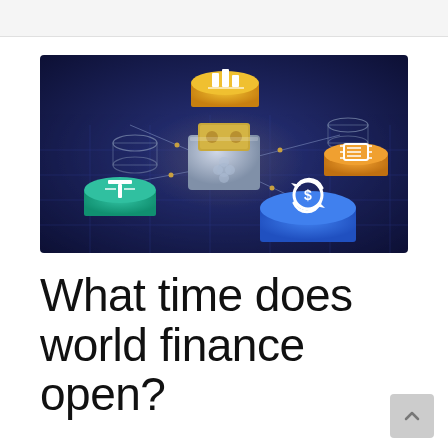[Figure (illustration): 3D isometric illustration showing a digital crypto wallet (silver/grey card holder with clover symbol) in the center connected by glowing lines on a dark navy/blue grid background. Surrounding the wallet are various cryptocurrency coin icons: a yellow/gold coin with bar chart symbol (top center), a teal coin with Tether T symbol (left), a gold coin with a circuit/chip symbol (right), a blue coin with stylized S$ symbol (bottom right), and two transparent glass cylinder shapes.]
What time does world finance open?